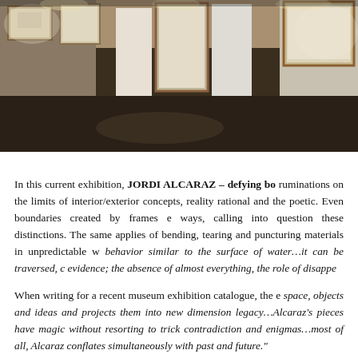[Figure (photo): Interior view of an art gallery with white walls displaying large framed artworks. The floor is dark concrete. White partition walls divide the space. Warm lighting illuminates the artworks.]
In this current exhibition, JORDI ALCARAZ – defying bo ruminations on the limits of interior/exterior concepts, reality rational and the poetic. Even boundaries created by frames e ways, calling into question these distinctions. The same applies of bending, tearing and puncturing materials in unpredictable w behavior similar to the surface of water…it can be traversed, c evidence; the absence of almost everything, the role of disappe
When writing for a recent museum exhibition catalogue, the e space, objects and ideas and projects them into new dimension legacy…Alcaraz's pieces have magic without resorting to trick contradiction and enigmas…most of all, Alcaraz conflates simultaneously with past and future."